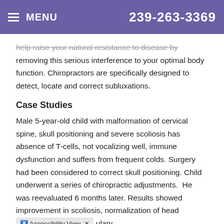MENU  239-263-3369
help raise your natural resistance to disease by removing this serious interference to your optimal body function. Chiropractors are specifically designed to detect, locate and correct subluxations.
Case Studies
Male 5-year-old child with malformation of cervical spine, skull positioning and severe scoliosis has absence of T-cells, not vocalizing well, immune dysfunction and suffers from frequent colds. Surgery had been considered to correct skull positioning. Child underwent a series of chiropractic adjustments.  He was reevaluated 6 months later. Results showed improvement in scoliosis, normalization of head … ulary,